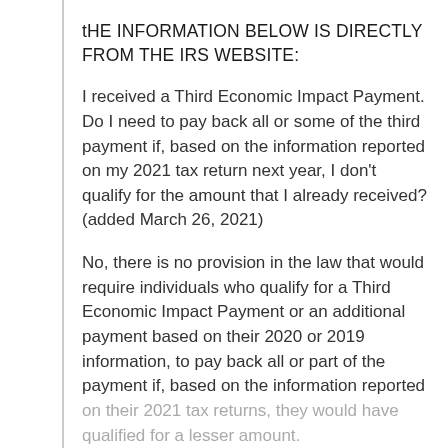tHE INFORMATION BELOW IS DIRECTLY FROM THE IRS WEBSITE:
I received a Third Economic Impact Payment. Do I need to pay back all or some of the third payment if, based on the information reported on my 2021 tax return next year, I don't qualify for the amount that I already received? (added March 26, 2021)
No, there is no provision in the law that would require individuals who qualify for a Third Economic Impact Payment or an additional payment based on their 2020 or 2019 information, to pay back all or part of the payment if, based on the information reported on their 2021 tax returns, they would have qualified for a lesser amount.